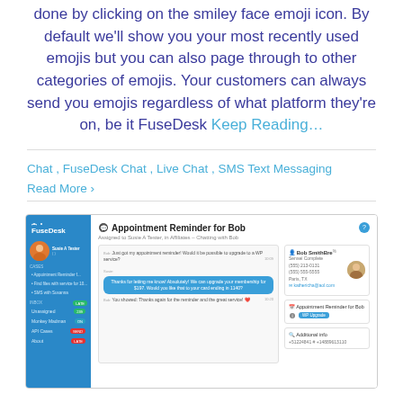done by clicking on the smiley face emoji icon. By default we'll show you your most recently used emojis but you can also page through to other categories of emojis. Your customers can always send you emojis regardless of what platform they're on, be it FuseDesk Keep Reading…
Chat, FuseDesk Chat, Live Chat, SMS Text Messaging
Read More ›
[Figure (screenshot): FuseDesk application screenshot showing a case titled 'Appointment Reminder for Bob' with a chat conversation, contact details for Bob SmithBre, and appointment information including a 'WP Upgrade' tag.]